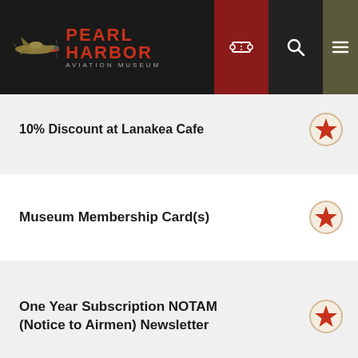Pearl Harbor Aviation Museum
10% Discount at Lanakea Cafe
Museum Membership Card(s)
One Year Subscription NOTAM (Notice to Airmen) Newsletter
Exclusive Museum Cap
Personal Docent-Led Tours w/ Advance Notice